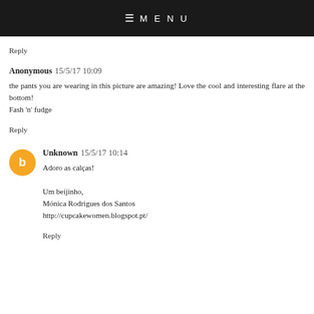MENU
Essa carta está um máximo. Espero que Lisboa te responda com um grande sol e boa...já flores de novo:D
Reply
Anonymous  15/5/17 10:09
the pants you are wearing in this picture are amazing! Love the cool and interesting flare at the bottom!
Fash 'n' fudge
Reply
Unknown  15/5/17 10:14
Adoro as calças!

Um beijinho,
Mónica Rodrigues dos Santos
http://cupcakewomen.blogspot.pt/
Reply